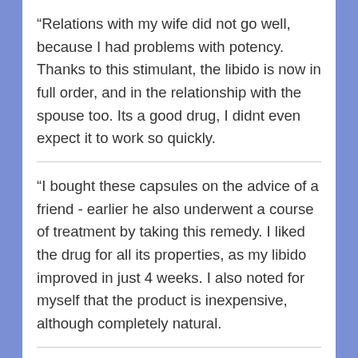“Relations with my wife did not go well, because I had problems with potency. Thanks to this stimulant, the libido is now in full order, and in the relationship with the spouse too. Its a good drug, I didnt even expect it to work so quickly.
“I bought these capsules on the advice of a friend - earlier he also underwent a course of treatment by taking this remedy. I liked the drug for all its properties, as my libido improved in just 4 weeks. I also noted for myself that the product is inexpensive, although completely natural.
“Six months ago in my sex life there were problems associated with a lack of libido. Thanks to this drug, the situation with potency has changed dramatically - now in bed I feel like a